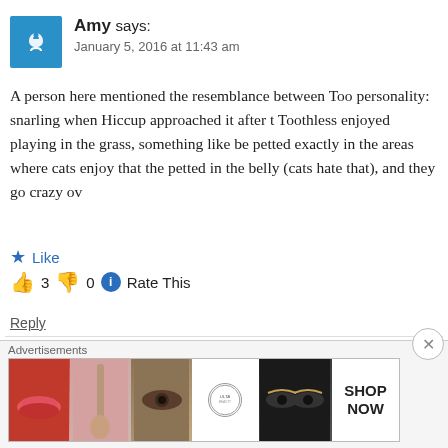Amy says: January 5, 2016 at 11:43 am
A person here mentioned the resemblance between Too personality: snarling when Hiccup approached it after t Toothless enjoyed playing in the grass, something like be petted exactly in the areas where cats enjoy that the petted in the belly (cats hate that), and they go crazy ov
Like
👍 3 👎 0 ℹ Rate This
Reply
brooklynn says:
Advertisements